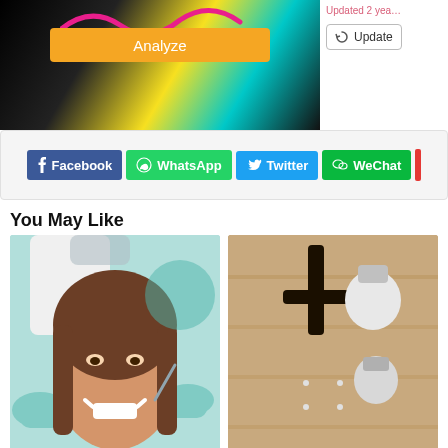[Figure (screenshot): Top left area showing colorful background image with an orange Analyze button overlaid]
Updated 2 years ago
[Figure (screenshot): Update button with refresh icon]
[Figure (screenshot): Social share bar with Facebook, WhatsApp, Twitter, WeChat buttons]
You May Like
[Figure (photo): A smiling young woman at a dentist, with gloved hands holding dental tools near her face]
[Figure (photo): Security camera mounted on a wall, with light bulbs visible]